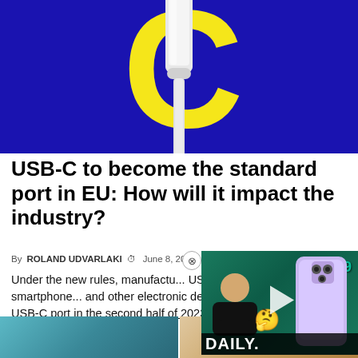[Figure (illustration): USB-C cable connector on dark blue background with large yellow letter C behind it]
USB-C to become the standard port in EU: How will it impact the industry?
By ROLAND UDVARLAKI  June 8, 2022, 6:3...
Under the new rules, manufacturers must include USB-C ports on all smartphones and other electronic devices. We expect an iPhone with a USB-C port in the second half of 2023.
[Figure (screenshot): Video thumbnail showing a person thinking, emoji, iPhone 14 Pro, price tag $1199, and DAILY text overlay on green background]
[Figure (photo): Bottom strip showing two partial images of devices]